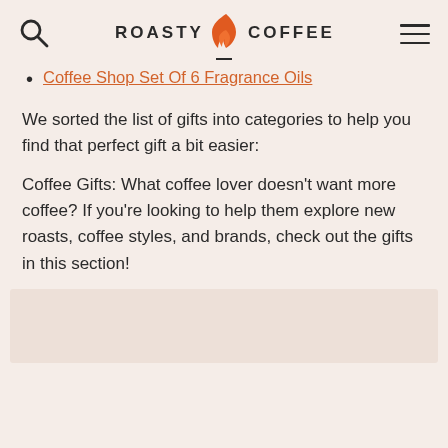ROASTY COFFEE
Coffee Shop Set Of 6 Fragrance Oils
We sorted the list of gifts into categories to help you find that perfect gift a bit easier:
Coffee Gifts: What coffee lover doesn’t want more coffee? If you’re looking to help them explore new roasts, coffee styles, and brands, check out the gifts in this section!
[Figure (photo): Partial image visible at the bottom of the page, appears to be a product or article image.]